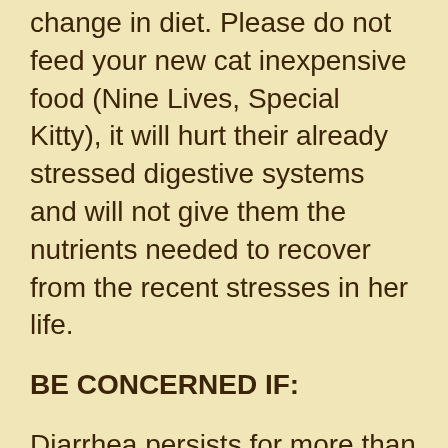change in diet. Please do not feed your new cat inexpensive food (Nine Lives, Special Kitty), it will hurt their already stressed digestive systems and will not give them the nutrients needed to recover from the recent stresses in her life.
BE CONCERNED IF:
Diarrhea persists for more than 2 days, OR sooner if it has blood mixed in with it. Please contact the rescue if this type of symptom occurs immediately after adoption. If the cat has been in your care for a week or more, please contact your veterinarian. The next step...